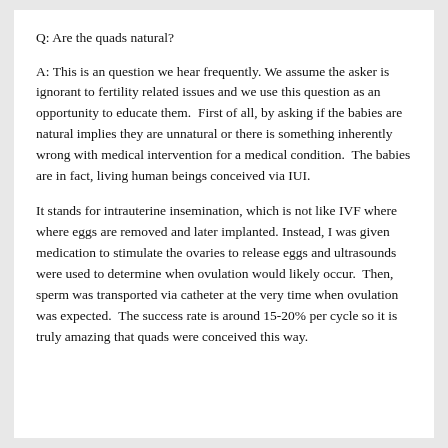Q: Are the quads natural?
A: This is an question we hear frequently. We assume the asker is ignorant to fertility related issues and we use this question as an opportunity to educate them.  First of all, by asking if the babies are natural implies they are unnatural or there is something inherently wrong with medical intervention for a medical condition.  The babies are in fact, living human beings conceived via IUI.
It stands for intrauterine insemination, which is not like IVF where where eggs are removed and later implanted. Instead, I was given medication to stimulate the ovaries to release eggs and ultrasounds were used to determine when ovulation would likely occur.  Then, sperm was transported via catheter at the very time when ovulation was expected.  The success rate is around 15-20% per cycle so it is truly amazing that quads were conceived this way.